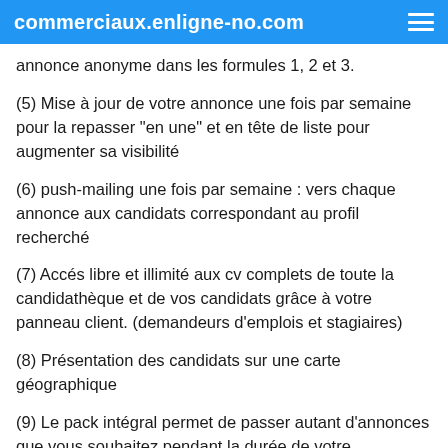commerciaux.enligne-no.com
annonce anonyme dans les formules 1, 2 et 3.
(5) Mise à jour de votre annonce une fois par semaine pour la repasser "en une" et en tête de liste pour augmenter sa visibilité
(6) push-mailing une fois par semaine : vers chaque annonce aux candidats correspondant au profil recherché
(7) Accés libre et illimité aux cv complets de toute la candidathèque et de vos candidats grâce à votre panneau client. (demandeurs d'emplois et stagiaires)
(8) Présentation des candidats sur une carte géographique
(9) Le pack intégral permet de passer autant d'annonces que vous souhaitez pendant la durée de votre abonnement.